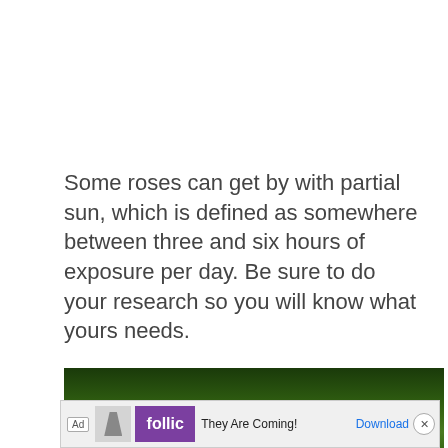Some roses can get by with partial sun, which is defined as somewhere between three and six hours of exposure per day. Be sure to do your research so you will know what yours needs.
[Figure (photo): Partial view of a garden scene with dark green shrubs/bushes and a pink flower visible at the lower right, taken outdoors.]
[Figure (screenshot): Advertisement banner: Ad label on left, small thumbnail image, Follic purple logo, text 'They Are Coming!', blue Download link, and close (X) button on right.]